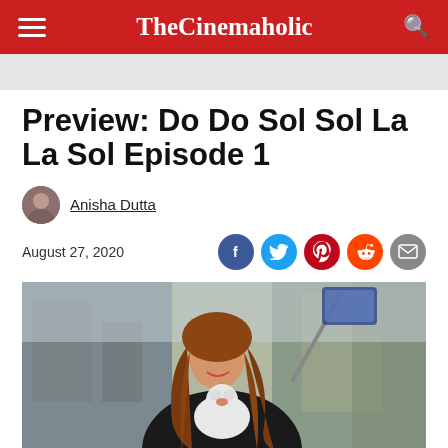TheCinemaholic
Preview: Do Do Sol Sol La La Sol Episode 1
Anisha Dutta
August 27, 2020
[Figure (photo): A smiling young woman with long brown hair holding a small white fluffy dog, wearing a dark blazer, outdoors with blurred urban background]